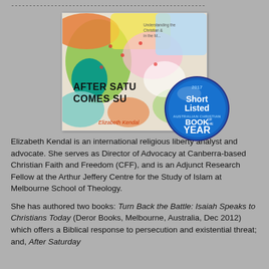------------------------------------------------------
[Figure (photo): Book cover of 'After Saturday Comes Sunday' by Elizabeth Kendal, with a colorful map background, overlaid with a blue 'Short Listed Australian Christian Book of the Year 2017' badge.]
Elizabeth Kendal is an international religious liberty analyst and advocate. She serves as Director of Advocacy at Canberra-based Christian Faith and Freedom (CFF), and is an Adjunct Research Fellow at the Arthur Jeffery Centre for the Study of Islam at Melbourne School of Theology.
She has authored two books: Turn Back the Battle: Isaiah Speaks to Christians Today (Deror Books, Melbourne, Australia, Dec 2012) which offers a Biblical response to persecution and existential threat; and, After Saturday